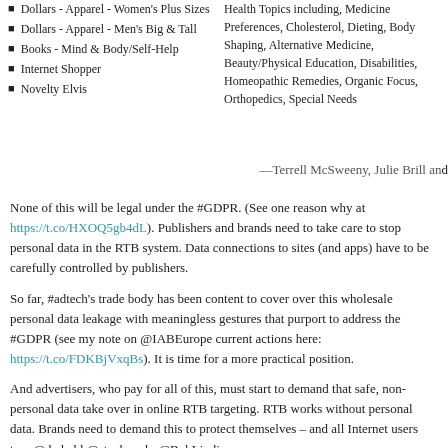Dollars - Apparel - Women's Plus Sizes
Dollars - Apparel - Men's Big & Tall
Books - Mind & Body/Self-Help
Internet Shopper
Novelty Elvis
Health Topics including, Medicine Preferences, Cholesterol, Dieting, Body Shaping, Alternative Medicine, Beauty/Physical Education, Disabilities, Homeopathic Remedies, Organic Focus, Orthopedics, Special Needs
—Terrell McSweeny, Julie Brill and
None of this will be legal under the #GDPR. (See one reason why at https://t.co/HXOQ5gb4dL). Publishers and brands need to take care to stop personal data in the RTB system. Data connections to sites (and apps) have to be carefully controlled by publishers.
So far, #adtech's trade body has been content to cover over this wholesale personal data leakage with meaningless gestures that purport to address the #GDPR (see my note on @IABEurope current actions here: https://t.co/FDKBjVxqBs). It is time for a more practical position.
And advertisers, who pay for all of this, must start to demand that safe, non-personal data take over in online RTB targeting. RTB works without personal data. Brands need to demand this to protect themselves – and all Internet users too. @dwheld @stephan_lo @BobLiodice
Websites need to control
1. which data they release in to the RTB system
2. whether ads render directly in visitors' browsers (where DSPs JavaScript drop trackers)